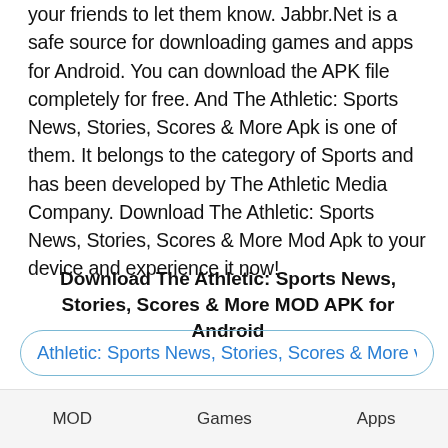your friends to let them know. Jabbr.Net is a safe source for downloading games and apps for Android. You can download the APK file completely for free. And The Athletic: Sports News, Stories, Scores & More Apk is one of them. It belongs to the category of Sports and has been developed by The Athletic Media Company. Download The Athletic: Sports News, Stories, Scores & More Mod Apk to your device and experience it now!
Download The Athletic: Sports News, Stories, Scores & More MOD APK for Android
Athletic: Sports News, Stories, Scores & More v12.26.0 (58
YOU MAY ALSO LIKE
MOD   Games   Apps